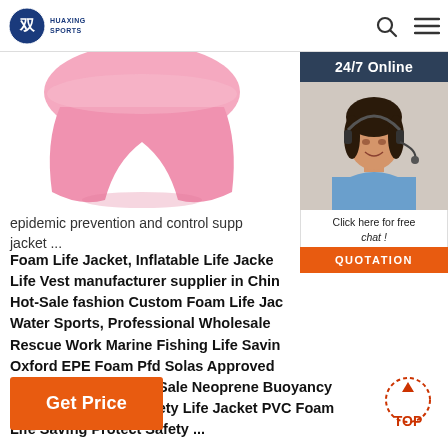HUAXING SPORTS
[Figure (photo): Pink swim shorts / buoyancy aid product photo on white background]
[Figure (photo): 24/7 Online customer service widget with female agent wearing headset, chat button, and orange QUOTATION button]
epidemic prevention and control supp jacket ...
Foam Life Jacket, Inflatable Life Jacket Life Vest manufacturer supplier in China Hot-Sale fashion Custom Foam Life Jacket Water Sports, Professional Wholesale Rescue Work Marine Fishing Life Saving Oxford EPE Foam Pfd Solas Approved Tape Life Jacket, Hot Sale Neoprene Buoyancy Vest Adult Marine Safety Life Jacket PVC Foam Life Saving Protect Safety ...
[Figure (other): Orange TOP (back to top) button with dotted circle arrow icon]
Get Price